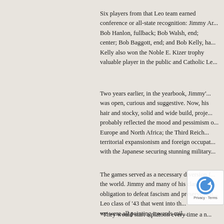Six players from that Leo team earned conference or all-state recognition: Jimmy An... Bob Hanlon, fullback; Bob Walsh, end; center; Bob Baggott, end; and Bob Kelly, ha... Kelly also won the Noble E. Kizer trophy valuable player in the public and Catholic Le...
Two years earlier, in the yearbook, Jimmy'... was open, curious and suggestive. Now, his hair and stocky, solid and wide build, proje... probably reflected the mood and pessimism... Europe and North Africa; the Third Reich territorial expansionism and foreign occupat... with the Japanese securing stunning military...
The games served as a necessary diversion f... the world. Jimmy and many of his classma... obligation to defeat fascism and preserve Am... Leo class of '43 that went into th... we were all pointing towards mil...
“They would start a platoon every time a n...